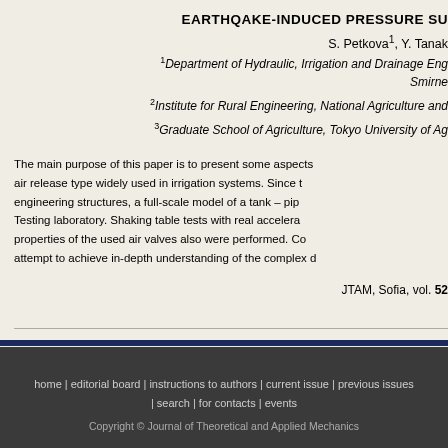EARTHQAKE-INDUCED PRESSURE SU…
S. Petkova¹, Y. Tanak…
¹Department of Hydraulic, Irrigation and Drainage Eng… Smirne…
²Institute for Rural Engineering, National Agriculture and…
³Graduate School of Agriculture, Tokyo University of Ag…
The main purpose of this paper is to present some aspects… air release type widely used in irrigation systems. Since t… engineering structures, a full-scale model of a tank – pip… Testing laboratory. Shaking table tests with real accelera… properties of the used air valves also were performed. Co… attempt to achieve in-depth understanding of the complex d…
JTAM, Sofia, vol. 52 …
home | editorial board | instructions to authors | current issue | previous issues | search | for contacts | events
Copyright © Journal of Theoretical and Applied Mechanics